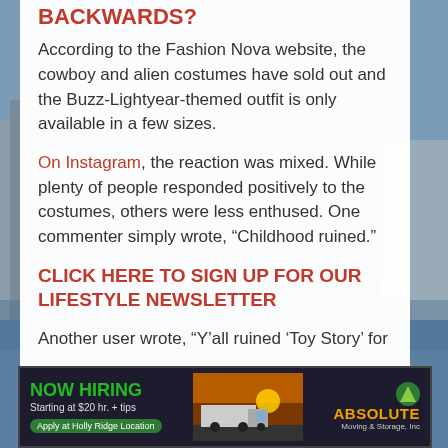BACKWARDS?
According to the Fashion Nova website, the cowboy and alien costumes have sold out and the Buzz-Lightyear-themed outfit is only available in a few sizes.
On Instagram, the reaction was mixed. While plenty of people responded positively to the costumes, others were less enthused. One commenter simply wrote, “Childhood ruined.”
CLICK HERE TO SIGN UP FOR OUR LIFESTYLE NEWSLETTER
Another user wrote, “Y’all ruined ‘Toy Story’ for
[Figure (infographic): Advertisement banner: NOW HIRING, Starting at $20 hr. + tips, Apply at Holly Ridge Location, with image of a truck at sunset, ABSOLUTE Moving & Storage, Inc logo]